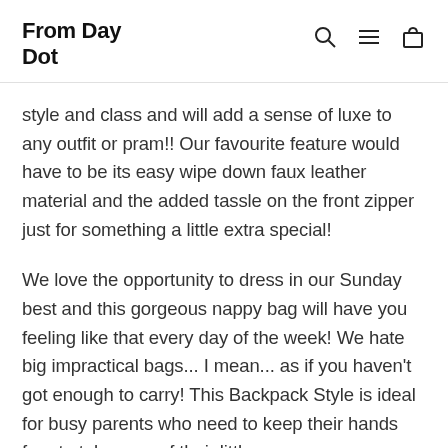From Day Dot
style and class and will add a sense of luxe to any outfit or pram!! Our favourite feature would have to be its easy wipe down faux leather material and the added tassle on the front zipper just for something a little extra special!
We love the opportunity to dress in our Sunday best and this gorgeous nappy bag will have you feeling like that every day of the week! We hate big impractical bags... I mean... as if you haven't got enough to carry! This Backpack Style is ideal for busy parents who need to keep their hands free to take care of their little ones.